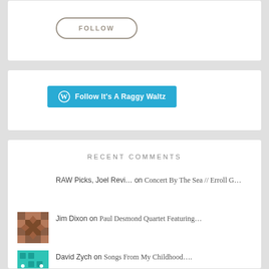[Figure (screenshot): FOLLOW button with rounded pill border in grey/taupe color]
[Figure (screenshot): WordPress Follow It's A Raggy Waltz button in teal/cyan color]
RECENT COMMENTS
RAW Picks, Joel Revi… on Concert By The Sea // Erroll G…
Jim Dixon on Paul Desmond Quartet Featuring…
David Zych on Songs From My Childhood….